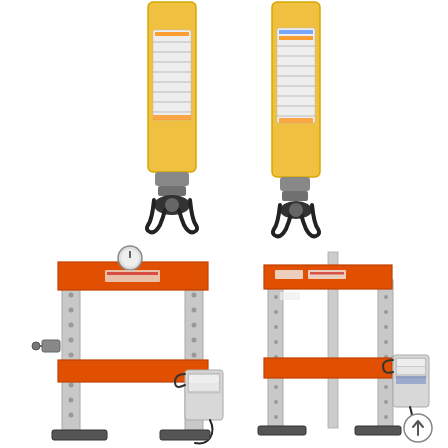[Figure (photo): Four hydraulic equipment products shown: top row has two yellow hydraulic cylinders with black couplings at bottom; bottom row has two orange and silver hydraulic shop presses with electric pump units, the left press is larger/taller and the right is slightly smaller. A circular arrow/up icon appears in the lower right corner.]